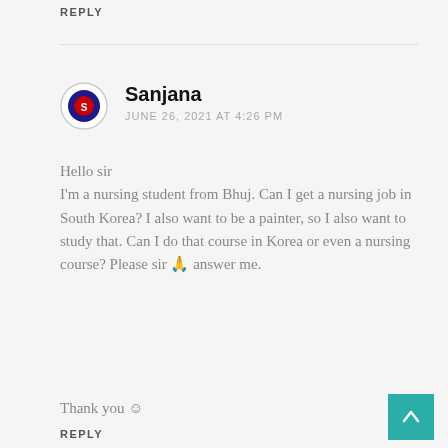REPLY
Sanjana
JUNE 26, 2021 AT 4:26 PM
Hello sir
I'm a nursing student from Bhuj. Can I get a nursing job in South Korea? I also want to be a painter, so I also want to study that. Can I do that course in Korea or even a nursing course? Please sir 🙏 answer me.

Thank you ☺
REPLY